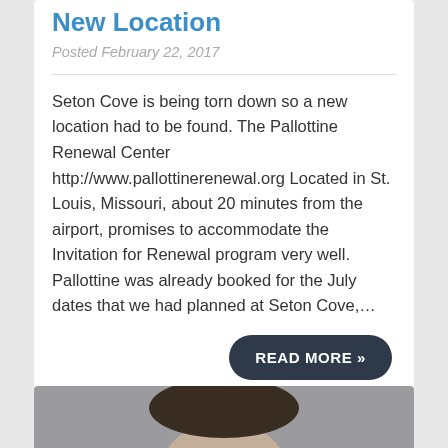New Location
Posted February 22, 2017
Seton Cove is being torn down so a new location had to be found. The Pallottine Renewal Center http://www.pallottinerenewal.org Located in St. Louis, Missouri, about 20 minutes from the airport, promises to accommodate the Invitation for Renewal program very well. Pallottine was already booked for the July dates that we had planned at Seton Cove,…
READ MORE »
[Figure (photo): Partial view of a person's face/head at the bottom of the page]